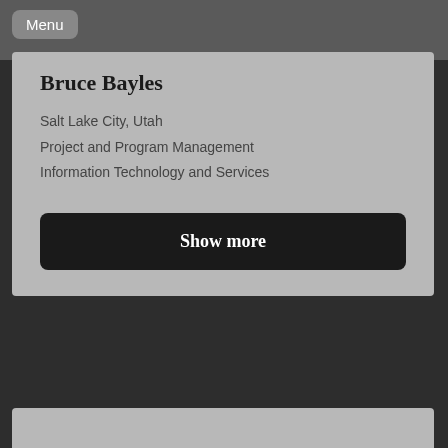[Figure (photo): Top portion of a person's photo, partially visible as a dark background area at the top of the page]
Menu
Bruce Bayles
Salt Lake City, Utah
Project and Program Management
Information Technology and Services
Show more